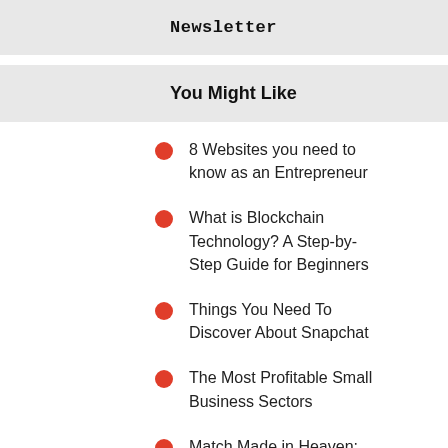Newsletter
You Might Like
8 Websites you need to know as an Entrepreneur
What is Blockchain Technology? A Step-by-Step Guide for Beginners
Things You Need To Discover About Snapchat
The Most Profitable Small Business Sectors
Match Made in Heaven: How to Start a Business Partnership
Featured